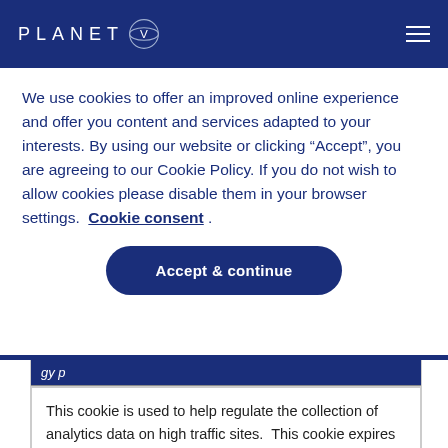PLANET V
We use cookies to offer an improved online experience and offer you content and services adapted to your interests. By using our website or clicking “Accept”, you are agreeing to our Cookie Policy. If you do not wish to allow cookies please disable them in your browser settings. Cookie consent .
Accept & continue
| This cookie is used to help regulate the collection of analytics data on high traffic sites.  This cookie expires after 1 minute. |